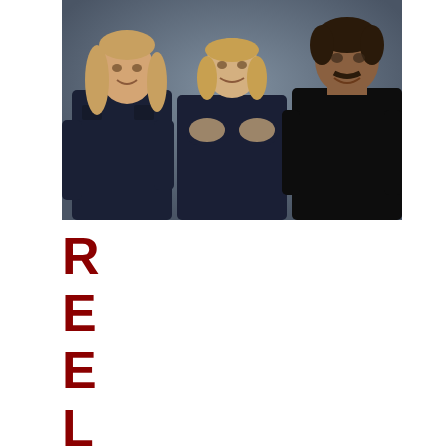[Figure (photo): Three people posing together against a dark blue-grey background. From left: a tall man with long light brown hair wearing a dark navy button-up shirt; a woman in the center with shoulder-length blonde hair wearing a sleeveless navy dress with arms crossed; a man on the right with dark hair and a mustache wearing a black t-shirt. All are smiling.]
REELM